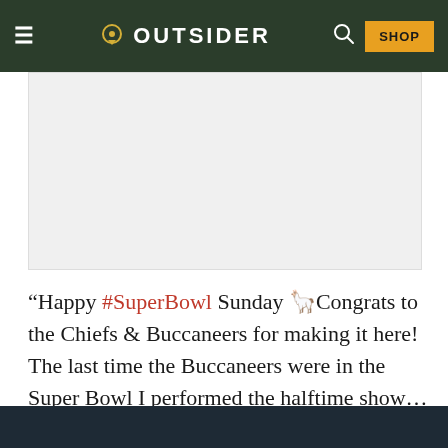OUTSIDER — navigation bar with hamburger menu, logo, search icon, and SHOP button
[Figure (other): Advertisement placeholder — light grey rectangle]
“Happy #SuperBowl Sunday 🤙Congrats to the Chiefs & Buccaneers for making it here! The last time the Buccaneers were in the Super Bowl I performed the halftime show… Can’t believe that was 18 years ago 😳 Good luck to both teams – Let’s Go Guys! 😇 and since there